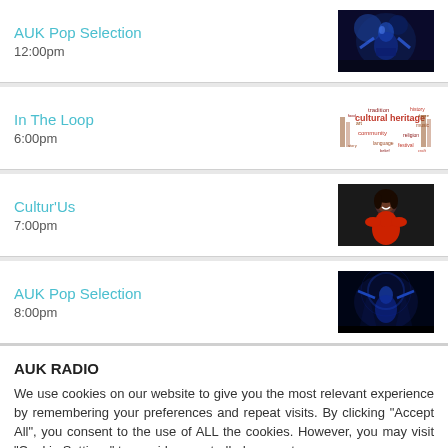AUK Pop Selection
12:00pm
[Figure (photo): Blue-toned photo of a DJ/musician performing]
In The Loop
6:00pm
[Figure (illustration): Word cloud image with 'cultural heritage' and related terms in red and brown]
Cultur'Us
7:00pm
[Figure (photo): Photo of a woman in a red top smiling, dark background]
AUK Pop Selection
8:00pm
[Figure (photo): Blue-toned photo of a DJ/musician performing at night]
AUK RADIO
We use cookies on our website to give you the most relevant experience by remembering your preferences and repeat visits. By clicking "Accept All", you consent to the use of ALL the cookies. However, you may visit "Cookie Settings" to provide a controlled consent.
Cookie Settings    Accept All